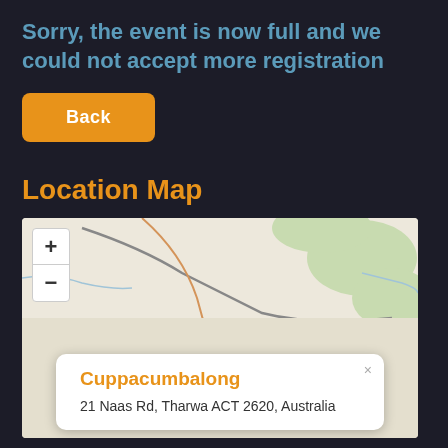Sorry, the event is now full and we could not accept more registration
Back
Location Map
[Figure (map): Interactive map showing location near Tharwa ACT, Australia, with zoom controls and a popup showing Cuppacumbalong at 21 Naas Rd, Tharwa ACT 2620, Australia]